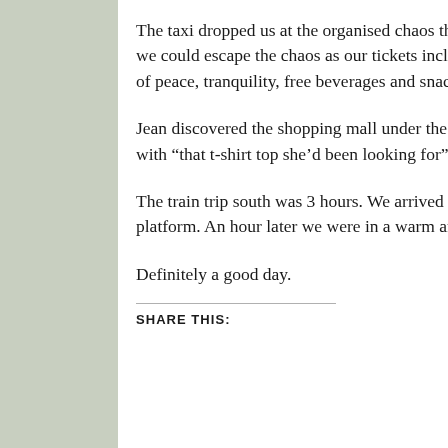The taxi dropped us at the organised chaos that is Firenze train station with time to spare for our train. Luckily we could escape the chaos as our tickets included access to the Frecciarossa lounge – an air-conditioned haven of peace, tranquility, free beverages and snacks.
Jean discovered the shopping mall under the station and disappeared for a few minutes returning successfully with “that t-shirt top she’d been looking for” and “something to wear by the pool”.
The train trip south was 3 hours. We arrived in Napoli at 5pm and were greeted by our driver Enzo on the platform. An hour later we were in a warm and slightly muggy Positano being greeted by the Eden Roc team.
Definitely a good day.
SHARE THIS: